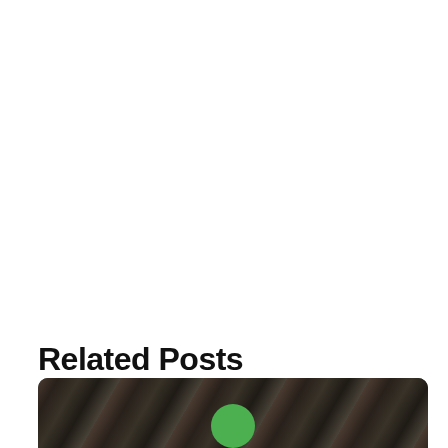Related Posts
[Figure (photo): Dark foliage/leaf background image with a green circular button overlay at the bottom center, partially visible at the bottom of the page.]